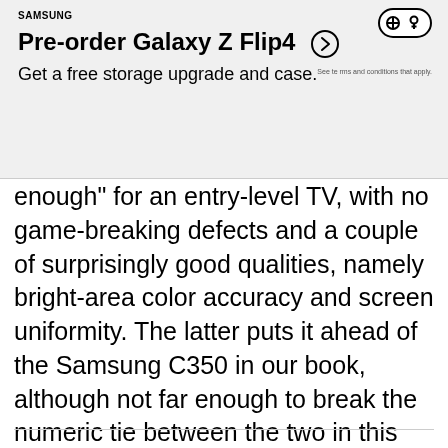[Figure (infographic): Samsung Galaxy Z Flip4 pre-order advertisement banner with Samsung logo, game controller icon, title 'Pre-order Galaxy Z Flip4', subtitle 'Get a free storage upgrade and case.', arrow circle button, and fine print.]
enough" for an entry-level TV, with no game-breaking defects and a couple of surprisingly good qualities, namely bright-area color accuracy and screen uniformity. The latter puts it ahead of the Samsung C350 in our book, although not far enough to break the numeric tie between the two in this subcategory. We can't speculate as to how the BX300 compares with even less expensive no-name models, but on its own merits it's a fine entry-level TV.